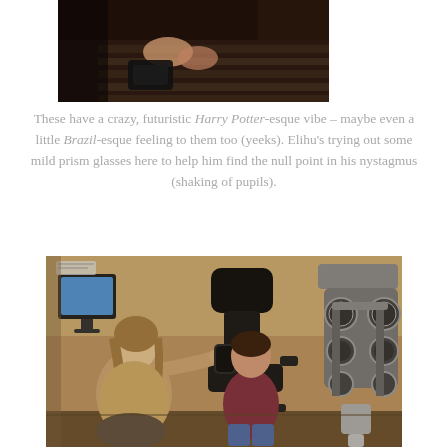[Figure (photo): Top partial photo showing hands and a person wearing a striped shirt, cropped at top of page]
These have a crazy, futuristic Harry Potter-esque vibe – maybe even a little Brazil-esque feeling to them too (yeeks). Elihu's trying out some mild prism glasses here to help him find the null point in his nystagmus (shaking of pupils).
[Figure (photo): Photo of an eye exam room: a female technician assists a young boy seated in an exam chair, holding a lens/occluder to his face. A phoropter (optical refraction device) is visible on the right. A computer monitor is visible on the left background. Warm tan/brown walls.]